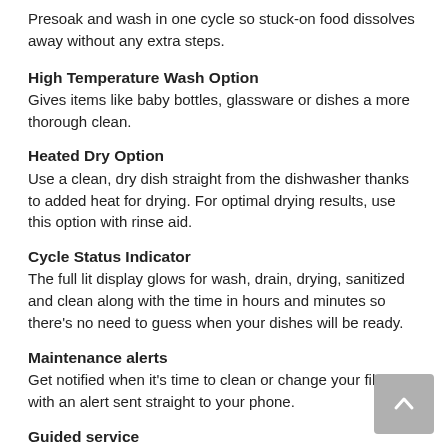Presoak and wash in one cycle so stuck-on food dissolves away without any extra steps.
High Temperature Wash Option
Gives items like baby bottles, glassware or dishes a more thorough clean.
Heated Dry Option
Use a clean, dry dish straight from the dishwasher thanks to added heat for drying. For optimal drying results, use this option with rinse aid.
Cycle Status Indicator
The full lit display glows for wash, drain, drying, sanitized and clean along with the time in hours and minutes so there's no need to guess when your dishes will be ready.
Maintenance alerts
Get notified when it's time to clean or change your filter with an alert sent straight to your phone.
Guided service
Keep track of scheduled appointments and make sure issues are known using the Whirlpool® app to send data from the appliance directly to Whirlpool brand customer